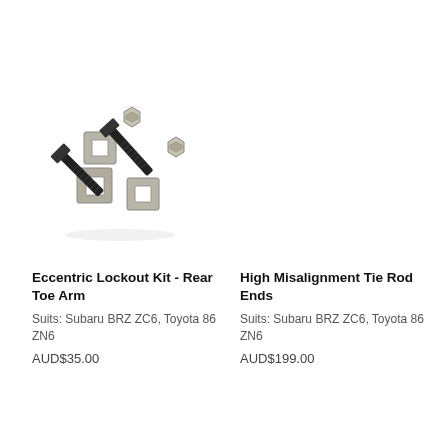[Figure (photo): Photo of Eccentric Lockout Kit hardware components including bolts, nuts, and square washers on white background]
Eccentric Lockout Kit - Rear Toe Arm
Suits: Subaru BRZ ZC6, Toyota 86 ZN6
AUD$35.00
High Misalignment Tie Rod Ends
Suits: Subaru BRZ ZC6, Toyota 86 ZN6
AUD$199.00